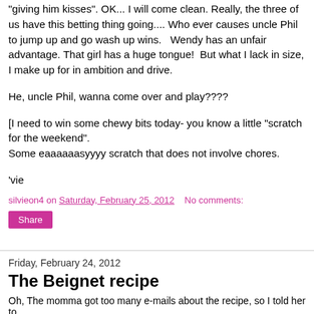"giving him kisses". OK... I will come clean. Really, the three of us have this betting thing going.... Who ever causes uncle Phil to jump up and go wash up wins.  Wendy has an unfair advantage. That girl has a huge tongue!  But what I lack in size, I make up for in ambition and drive.
He, uncle Phil, wanna come over and play????
[I need to win some chewy bits today- you know a little "scratch for the weekend".
Some eaaaaaasyyyy scratch that does not involve chores.
'vie
silvieon4 on Saturday, February 25, 2012   No comments:
Share
Friday, February 24, 2012
The Beignet recipe
Oh, The momma got too many e-mails about the recipe, so I told her to